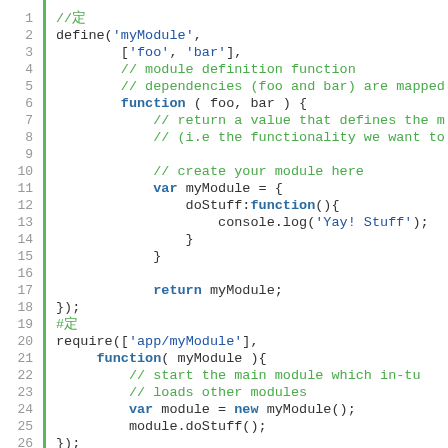[Figure (screenshot): Code editor screenshot showing JavaScript code using RequireJS define and require module pattern, lines 1-26, with green line numbers and vertical green bar, syntax highlighted in blue/green]